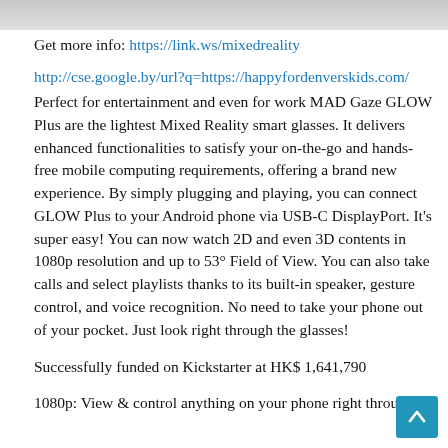[Figure (photo): Partial image at top of page, appears to be a photo (gray/cropped)]
Get more info: https://link.ws/mixedreality
http://cse.google.by/url?q=https://happyfordenverskids.com/
Perfect for entertainment and even for work MAD Gaze GLOW Plus are the lightest Mixed Reality smart glasses. It delivers enhanced functionalities to satisfy your on-the-go and hands-free mobile computing requirements, offering a brand new experience. By simply plugging and playing, you can connect GLOW Plus to your Android phone via USB-C DisplayPort. It's super easy! You can now watch 2D and even 3D contents in 1080p resolution and up to 53° Field of View. You can also take calls and select playlists thanks to its built-in speaker, gesture control, and voice recognition. No need to take your phone out of your pocket. Just look right through the glasses!
Successfully funded on Kickstarter at HK$ 1,641,790
1080p: View & control anything on your phone right through